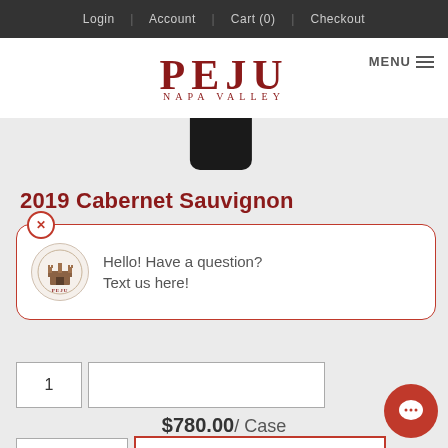Login | Account | Cart (0) | Checkout
[Figure (logo): PEJU NAPA VALLEY winery logo in dark red serif text]
2019 Cabernet Sauvignon
Hello! Have a question? Text us here!
$780.00 / Case
BUY A CASE